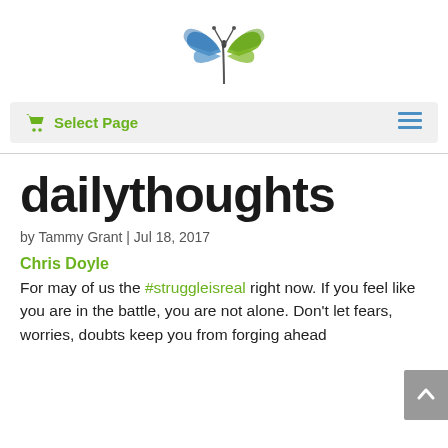[Figure (logo): Butterfly logo with blue and green wings]
🛒 Select Page ≡
dailythoughts
by Tammy Grant | Jul 18, 2017
Chris Doyle
For may of us the #struggleisreal right now. If you feel like you are in the battle, you are not alone. Don't let fears, worries, doubts keep you from forging ahead